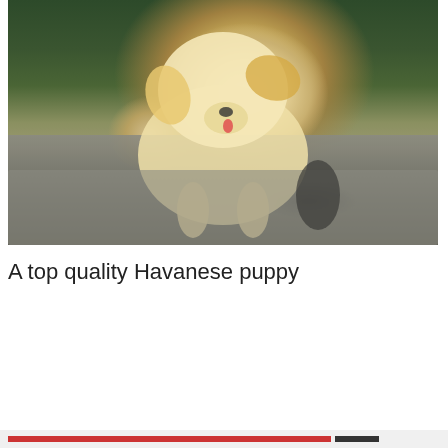[Figure (photo): A fluffy white/cream Havanese puppy standing on a large grey rock, with green foliage in the background. The puppy has its tongue slightly out and looks toward the camera.]
A top quality Havanese puppy
Privacy & Cookies: This site uses cookies. By continuing to use this website, you agree to their use.
To find out more, including how to control cookies, see here: Cookie Policy
Close and accept